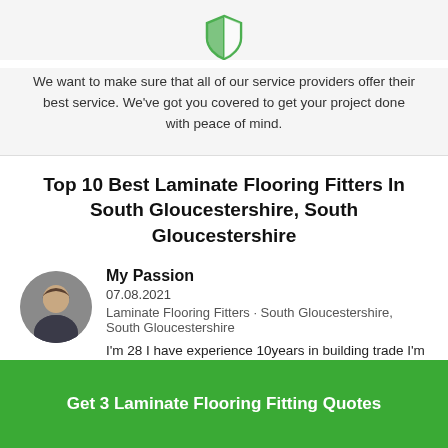[Figure (logo): Green and white shield/badge logo icon]
We want to make sure that all of our service providers offer their best service. We've got you covered to get your project done with peace of mind.
Top 10 Best Laminate Flooring Fitters In South Gloucestershire, South Gloucestershire
[Figure (photo): Circular avatar photo of a man]
My Passion
07.08.2021
Laminate Flooring Fitters · South Gloucestershire, South Gloucestershire
I'm 28 I have experience 10years in building trade I'm working by professionals teams always. We do carpet- vinyl- laminate- floor level- epoxy floor-
Get 3 Laminate Flooring Fitting Quotes